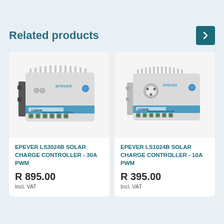Related products
[Figure (photo): EPEVER LS3024B Solar Charge Controller device photo - white unit with green terminal blocks and blue stripe]
EPEVER LS3024B SOLAR CHARGE CONTROLLER - 30A PWM
R 895.00
Incl. VAT
[Figure (photo): EPEVER LS1024B Solar Charge Controller device photo - white unit with green terminal blocks and blue stripe]
EPEVER LS1024B SOLAR CHARGE CONTROLLER - 10A PWM
R 395.00
Incl. VAT